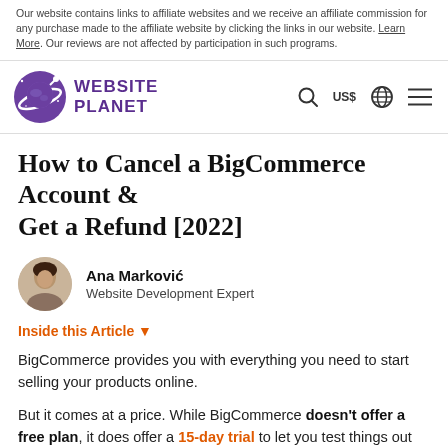Our website contains links to affiliate websites and we receive an affiliate commission for any purchase made to the affiliate website by clicking the links in our website. Learn More. Our reviews are not affected by participation in such programs.
[Figure (logo): Website Planet logo — purple planet/satellite icon with WEBSITE PLANET text in purple]
How to Cancel a BigCommerce Account & Get a Refund [2022]
Ana Marković — Website Development Expert
Inside this Article ▼
BigCommerce provides you with everything you need to start selling your products online.
But it comes at a price. While BigCommerce doesn't offer a free plan, it does offer a 15-day trial to let you test things out before making a long-term commitment.